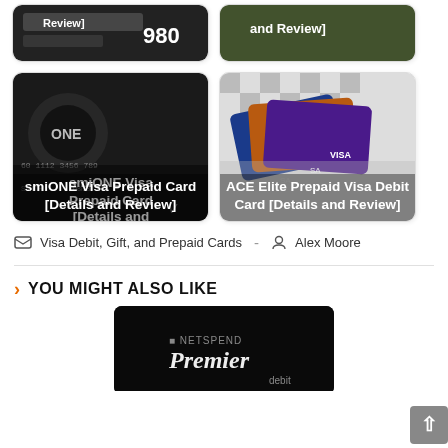[Figure (photo): Top-left card image with text overlay partially visible showing '[Review]' and number '980']
[Figure (photo): Top-right card image with text overlay partially visible showing 'and Review]']
[Figure (photo): smiONE Visa Prepaid Card [Details and Review] - dark credit card image with white text overlay]
[Figure (photo): ACE Elite Prepaid Visa Debit Card [Details and Review] - multiple colorful Visa cards image with white text overlay]
Visa Debit, Gift, and Prepaid Cards  -  Alex Moore
YOU MIGHT ALSO LIKE
[Figure (photo): Netspend Premier debit card - dark card with 'NETSPEND Premier debit' text visible]